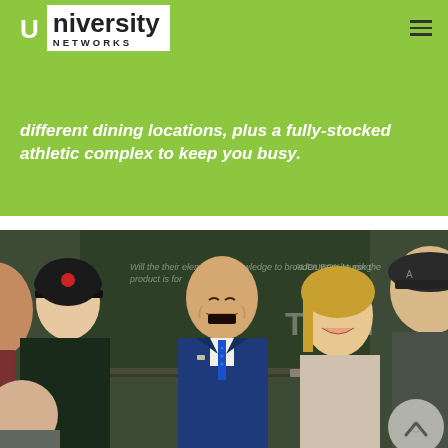[Figure (logo): University Networks logo - green box with white U, bold text 'niversity' in dark, 'NETWORKS' in spaced letters below]
different dining locations, plus a fully-stocked athletic complex to keep you busy.
[Figure (photo): Group of students and a man in a blue suit laughing together in front of a chalkboard. Text on chalkboard partially visible. A scroll-up navigation button is visible in the bottom right corner.]